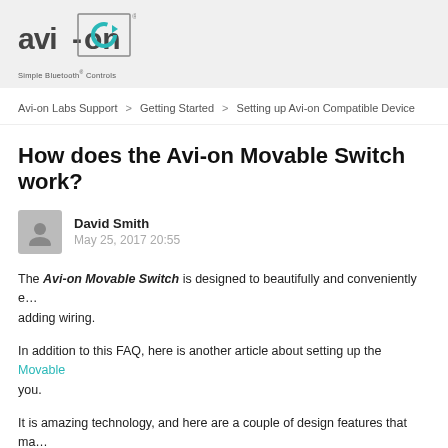[Figure (logo): Avi-on logo with text 'avi-on' and circular arrow icon, tagline 'Simple Bluetooth® Controls']
Avi-on Labs Support > Getting Started > Setting up Avi-on Compatible Device
How does the Avi-on Movable Switch work?
David Smith
May 25, 2017 20:55
The Avi-on Movable Switch is designed to beautifully and conveniently e… adding wiring.
In addition to this FAQ, here is another article about setting up the Movable… you.
It is amazing technology, and here are a couple of design features that ma…